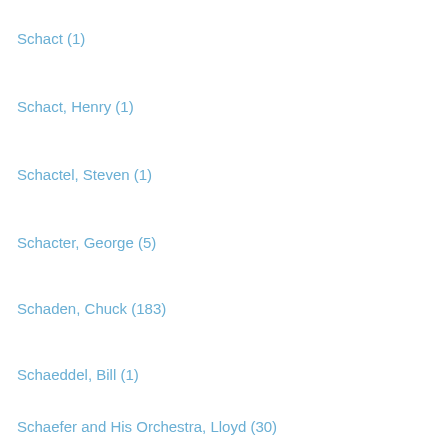Schact (1)
Schact, Henry (1)
Schactel, Steven (1)
Schacter, George (5)
Schaden, Chuck (183)
Schaeddel, Bill (1)
Schaefer and His Orchestra, Lloyd (30)
Schaefer, George (2)